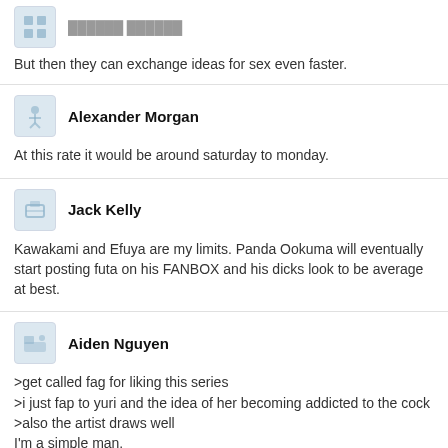But then they can exchange ideas for sex even faster.
Alexander Morgan
At this rate it would be around saturday to monday.
Jack Kelly
Kawakami and Efuya are my limits. Panda Ookuma will eventually start posting futa on his FANBOX and his dicks look to be average at best.
Aiden Nguyen
>get called fag for liking this series
>i just fap to yuri and the idea of her becoming addicted to the cock
>also the artist draws well
I'm a simple man.